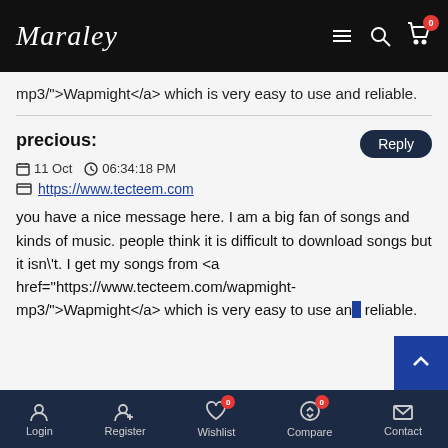Maraley
mp3/">Wapmight</a> which is very easy to use and reliable.
precious:
11 Oct   06:34:18 PM
https://www.tecteem.com
you have a nice message here. I am a big fan of songs and kinds of music. people think it is difficult to download songs but it isn't. I get my songs from <a href="https://www.tecteem.com/wapmight-mp3/">Wapmight</a> which is very easy to use and reliable.
Login  Register  Wishlist 0  Compare 0  Contact